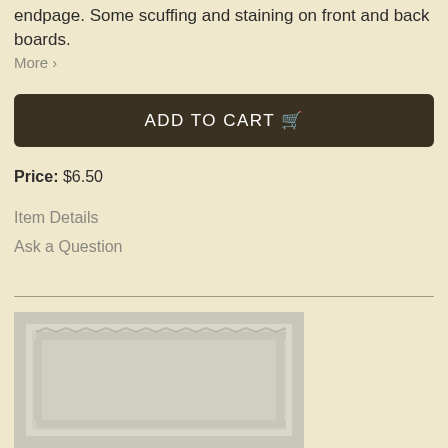endpage. Some scuffing and staining on front and back boards.
More >
ADD TO CART 🛒
Price: $6.50
Item Details
Ask a Question
[Figure (photo): A book or document cover image showing a decorative border/frame on a light gray background, partially visible at bottom of page.]